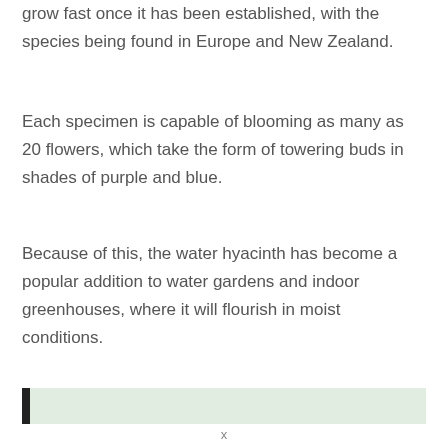grow fast once it has been established, with the species being found in Europe and New Zealand.
Each specimen is capable of blooming as many as 20 flowers, which take the form of towering buds in shades of purple and blue.
Because of this, the water hyacinth has become a popular addition to water gardens and indoor greenhouses, where it will flourish in moist conditions.
[Figure (other): A highlighted bar element with a dark left border and light green background, partially visible at the bottom of the page.]